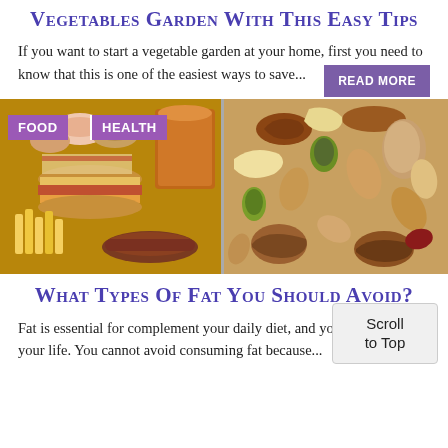Vegetables Garden With This Easy Tips
If you want to start a vegetable garden at your home, first you need to know that this is one of the easiest ways to save...
[Figure (photo): Two-panel food image: left side shows various junk/processed foods (burgers, sandwiches, fries, macarons), right side shows a variety of mixed nuts and seeds. Tags 'FOOD' and 'HEALTH' overlay the top-left.]
What Types Of Fat You Should Avoid?
Fat is essential for complement your daily diet, and your health during your life. You cannot avoid consuming fat because...